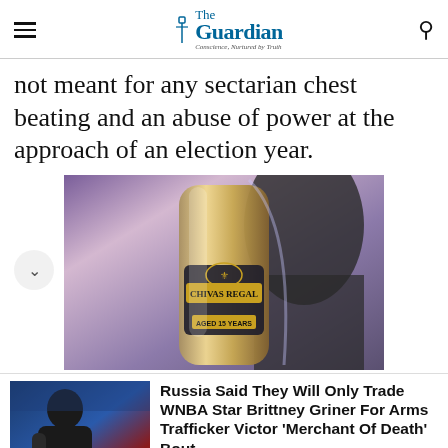The Guardian
not meant for any sectarian chest beating and an abuse of power at the approach of an election year.
[Figure (photo): Close-up photo of a Chivas Regal Aged 15 Years whisky bottle being held by a person]
[Figure (photo): Thumbnail photo of WNBA player Brittney Griner sitting on the bench]
Russia Said They Will Only Trade WNBA Star Brittney Griner For Arms Trafficker Victor 'Merchant Of Death' Bout
Moguldom Nation | Sponsored
Jubna ▶